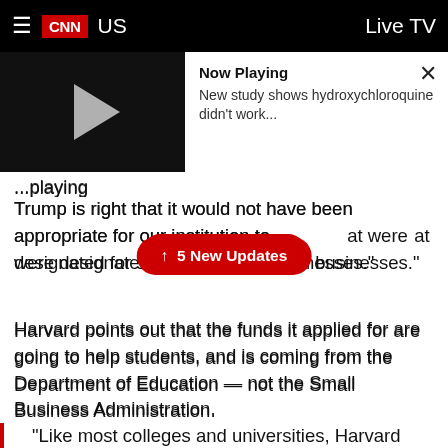CNN  US  Live TV
[Figure (screenshot): CNN video player showing 'Now Playing: New study shows hydroxychloroquine didn't work...' with play button thumbnail on black background and close button]
Trump is right that it would not have been appropriate for our institution to [funds] that were designated for struggling small businesses."
↑ 5 New Updates
Harvard points out that the funds it applied for are going to help students, and is coming from the Department of Education — not the Small Business Administration.
"Like most colleges and universities, Harvard has been allocated funds as part of the CARES Act Higher Education Emergency Relief Fund. Harvard